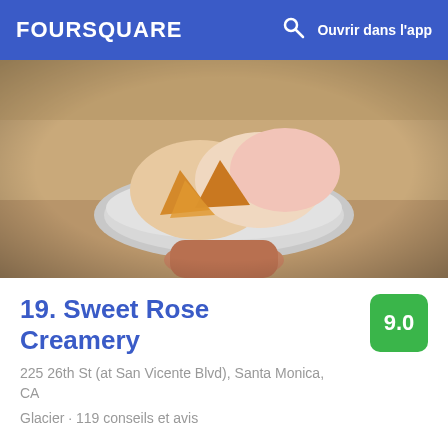FOURSQUARE — Ouvrir dans l'app
[Figure (photo): Close-up photo of a hand holding a bowl of ice cream with waffle cone pieces, soft pinkish and golden scoops in a silver bowl]
19. Sweet Rose Creamery
225 26th St (at San Vicente Blvd), Santa Monica, CA
Glacier · 119 conseils et avis
[Figure (photo): Exterior storefront photo of Sweet Rose Creamery with large glass windows, colorful floral wallpaper inside, red decorative scalloped banner, people standing inside, nighttime exterior visible on the right]